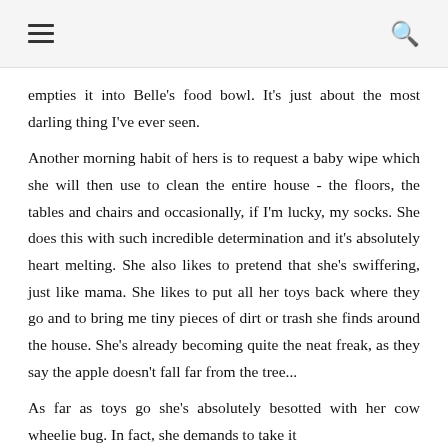≡  🔍
empties it into Belle's food bowl. It's just about the most darling thing I've ever seen.
Another morning habit of hers is to request a baby wipe which she will then use to clean the entire house - the floors, the tables and chairs and occasionally, if I'm lucky, my socks. She does this with such incredible determination and it's absolutely heart melting. She also likes to pretend that she's swiffering, just like mama. She likes to put all her toys back where they go and to bring me tiny pieces of dirt or trash she finds around the house. She's already becoming quite the neat freak, as they say the apple doesn't fall far from the tree...
As far as toys go she's absolutely besotted with her cow wheelie bug. In fact, she demands to take it